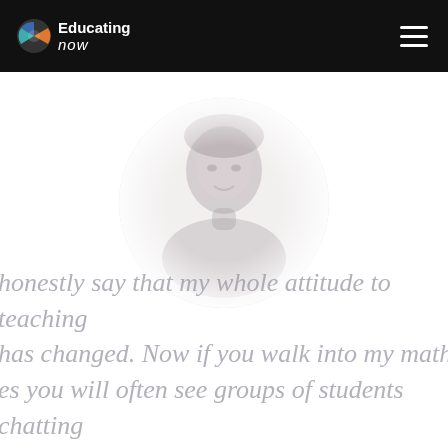Educating now
[Figure (photo): Circular profile photo of a woman with dark hair, faded/washed-out appearance, centered on white background]
honestly say that my whole attitude to teaching has changed. Now if you walk into my math es you will often see groups of students chatting